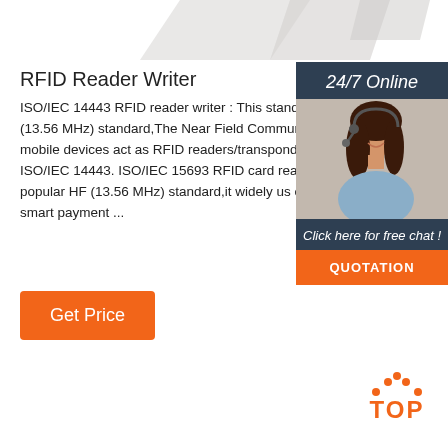[Figure (illustration): Decorative grey triangular/chevron shapes at top of page]
RFID Reader Writer
ISO/IEC 14443 RFID reader writer : This standard is (13.56 MHz) standard,The Near Field Communication lets mobile devices act as RFID readers/transponders on ISO/IEC 14443. ISO/IEC 15693 RFID card reader also a popular HF (13.56 MHz) standard,it widely used contact smart payment ...
[Figure (infographic): Right sidebar with dark blue background showing '24/7 Online' header, photo of woman with headset smiling, text 'Click here for free chat!', and orange QUOTATION button]
[Figure (other): Orange 'Get Price' button]
[Figure (illustration): Orange 'TOP' back-to-top button with orange dots above it at bottom right]